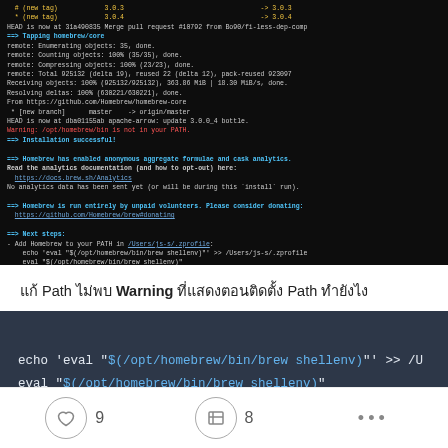[Figure (screenshot): Terminal window showing Homebrew installation output on macOS, including tapping homebrew/core, downloading objects, warning about PATH, installation successful message, analytics notice with link to https://docs.brew.sh/Analytics, donation request with link to https://github.com/Homebrew/brew/donating, and next steps instructions for adding Homebrew to PATH with echo and eval commands.]
แก้ Path ไม่พบ Warning ที่แสดงตอนติดตั้ง Path ทำยังไง
[Figure (screenshot): Code block on dark background showing terminal commands: echo 'eval "$(opt/homebrew/bin/brew shellenv)"' >> /U and eval "$(opt/homebrew/bin/brew shellenv)"]
9  8  ...